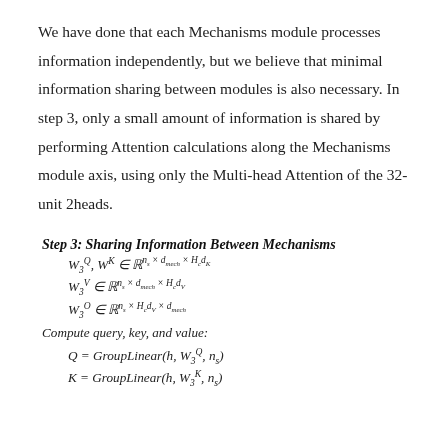We have done that each Mechanisms module processes information independently, but we believe that minimal information sharing between modules is also necessary. In step 3, only a small amount of information is shared by performing Attention calculations along the Mechanisms module axis, using only the Multi-head Attention of the 32-unit 2heads.
Step 3: Sharing Information Between Mechanisms
Compute query, key, and value: